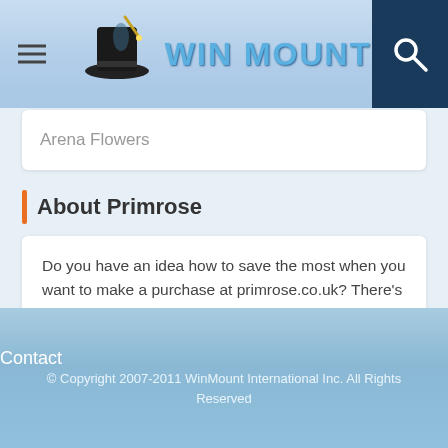WinMount
Arena Flowers
About Primrose
Do you have an idea how to save the most when you want to make a purchase at primrose.co.uk? There's lots of ways to save online at Primrose, but with no doubt, using a Primrose discount code is one of the easiest and most effective ways. Browse the 52 live coupon codes and deals
Contact
© Copyright 2007-2011 WinMount International Inc. All Rights Reserved